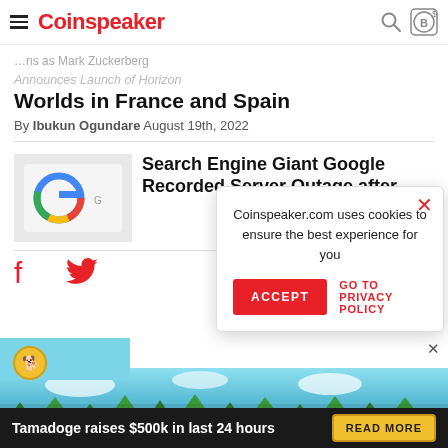Coinspeaker
Announces Launch of Horizon Worlds in France and Spain
By Ibukun Ogundare August 19th, 2022
Search Engine Giant Google Recorded Server Outage after
[Figure (photo): Thumbnail image showing Google logo on a device]
Coinspeaker.com uses cookies to ensure the best experience for you
[Figure (infographic): Tamadoge advertisement banner with logo and 'Tamadoge raises $500k in last 24 hours' text]